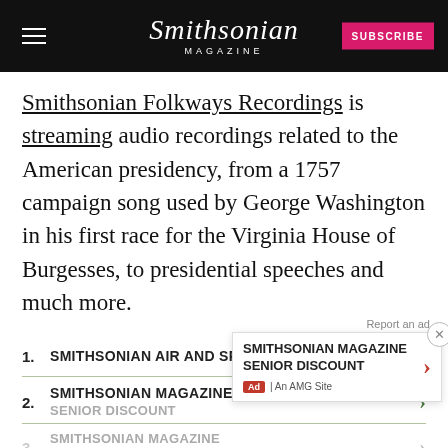Smithsonian MAGAZINE | SUBSCRIBE
Smithsonian Folkways Recordings is streaming audio recordings related to the American presidency, from a 1757 campaign song used by George Washington in his first race for the Virginia House of Burgesses, to presidential speeches and much more.
1. SMITHSONIAN AIR AND SPACE
2. SMITHSONIAN MAGAZINE SENIOR DISCOUNT
3. SMITHSONIAN MAGAZINE SUBSCRIPTIONS
4. SMITHSONIAN MAGAZINE ONLINE